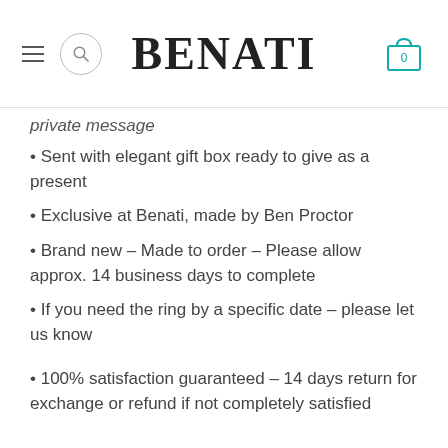BENATI
private message
Sent with elegant gift box ready to give as a present
Exclusive at Benati, made by Ben Proctor
Brand new – Made to order – Please allow approx. 14 business days to complete
If you need the ring by a specific date – please let us know
100% satisfaction guaranteed – 14 days return for exchange or refund if not completely satisfied
♥ Also available:
Our matching, leaf wedding band:
https://www.etsy.com/il-